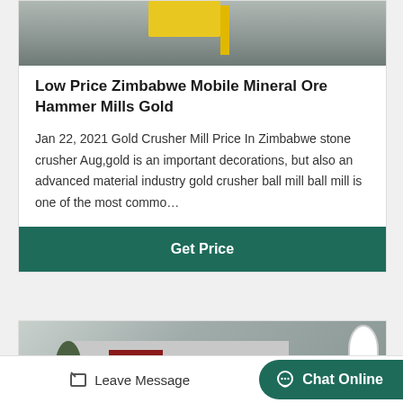[Figure (photo): Industrial machinery photo showing yellow equipment on a grey floor in a warehouse or factory setting]
Low Price Zimbabwe Mobile Mineral Ore Hammer Mills Gold
Jan 22, 2021 Gold Crusher Mill Price In Zimbabwe stone crusher Aug,gold is an important decorations, but also an advanced material industry gold crusher ball mill ball mill is one of the most commo…
Get Price
[Figure (photo): Exterior photo of a factory or industrial building with Chinese signage, trees, decorative gate structure with red roof accent, and a rocket figure on the right side]
Leave Message
Chat Online